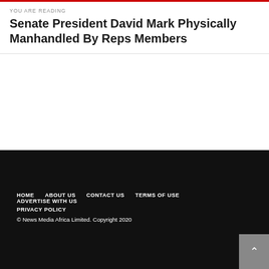YOU ARE READING
Senate President David Mark Physically Manhandled By Reps Members
HOME   ABOUT US   CONTACT US   TERMS OF USE   ADVERTISE WITH US   PRIVACY POLICY   © News Media Africa Limited. Copyright 2020